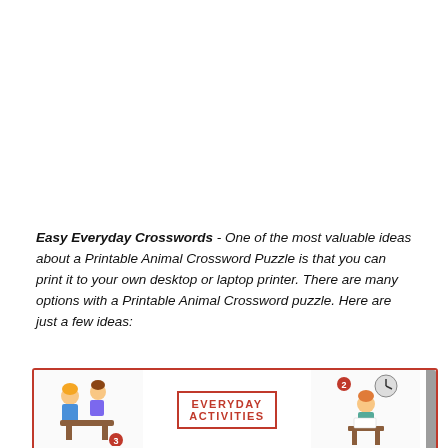Easy Everyday Crosswords - One of the most valuable ideas about a Printable Animal Crossword Puzzle is that you can print it to your own desktop or laptop printer. There are many options with a Printable Animal Crossword puzzle. Here are just a few ideas:
[Figure (illustration): Promotional image for an 'Everyday Activities' crossword puzzle book, showing cartoon children doing activities on the left and right, with a center box reading 'EVERYDAY ACTIVITIES' in red, and a caption 'Fill in the crossword and find the hidden words.']
Fill in the crossword and find the hidden words.